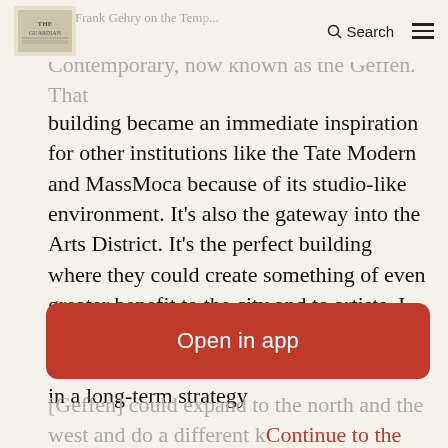Frank Gehry on the Temp... | [Logo] | Search | Menu
Frank Gehry on the Temp... Contemporary, now known as the Geffen. That building became an immediate inspiration for other institutions like the Tate Modern and MassMoca because of its studio-like environment. It's also the gateway into the Arts District. It's the perfect building where they could create something of even greater benefit to the city and to artists. I think they need to engage Frank, who is doing some of his most original work now, in a long-term strategy
[Figure (screenshot): Red 'Open in app' button overlay]
[Geffen] could expand to the north and the west and do a different kind of exhibition and education programme.
Continue to the website